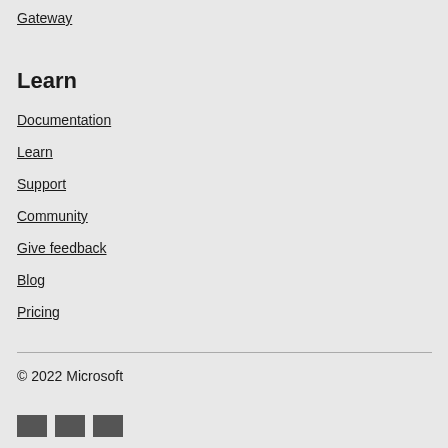Gateway
Learn
Documentation
Learn
Support
Community
Give feedback
Blog
Pricing
© 2022 Microsoft